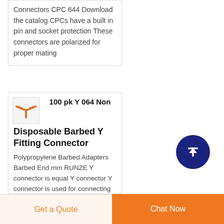Connectors CPC 644 Download the catalog CPCs have a built in pin and socket protection These connectors are polarized for proper mating
100 pk Y 064 Non Disposable Barbed Y Fitting Connector
Polypropylene Barbed Adapters Barbed End mm RUNZE Y connector is equal Y connector Y connector is used for connecting
[Figure (illustration): Orange Y-connector fitting icon/logo]
[Figure (illustration): Dark blue circular scroll-to-top button with white upward arrow]
Get a Quote
Chat Now